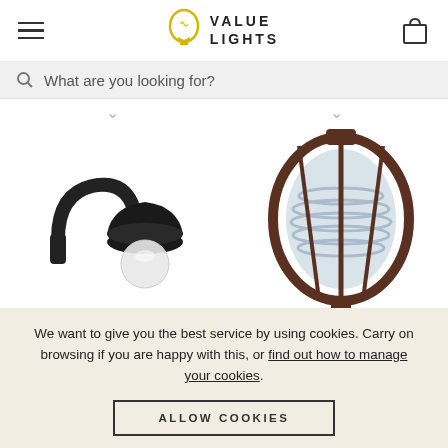Value Lights — navigation header with hamburger menu and cart icon
What are you looking for?
[Figure (photo): Two outdoor wall light fixtures on a white background. Left: a black gooseneck wall lantern with a globe bulb. Right: a bronze/rust-colored oval bulkhead light with ribbed glass and cage guard.]
We want to give you the best service by using cookies. Carry on browsing if you are happy with this, or find out how to manage your cookies.
ALLOW COOKIES